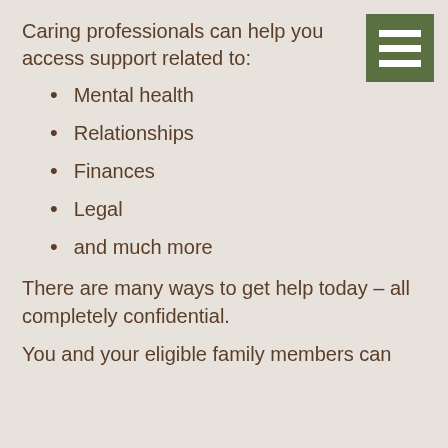Caring professionals can help you access support related to:
[Figure (illustration): Green square menu/hamburger icon with three horizontal white bars]
Mental health
Relationships
Finances
Legal
and much more
There are many ways to get help today – all completely confidential.
You and your eligible family members can